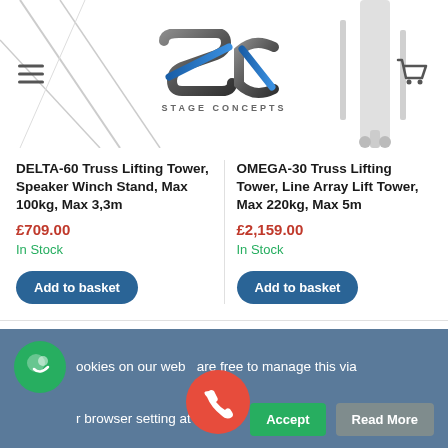[Figure (screenshot): Stage Concepts logo with SC monogram in blue and grey]
DELTA-60 Truss Lifting Tower, Speaker Winch Stand, Max 100kg, Max 3,3m
£709.00
In Stock
Add to basket
OMEGA-30 Truss Lifting Tower, Line Array Lift Tower, Max 220kg, Max 5m
£2,159.00
In Stock
Add to basket
LATEST
cookies on our web   are free to manage this via   browser setting at         .
Accept
Read More